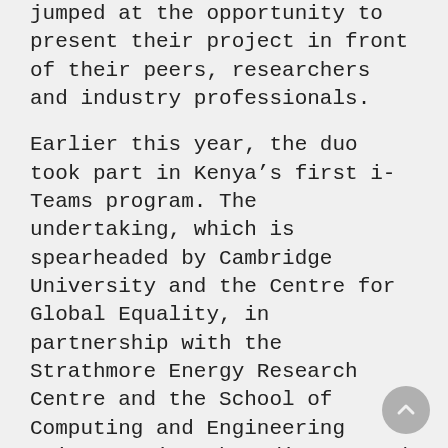jumped at the opportunity to present their project in front of their peers, researchers and industry professionals.
Earlier this year, the duo took part in Kenya's first i-Teams program. The undertaking, which is spearheaded by Cambridge University and the Centre for Global Equality, in partnership with the Strathmore Energy Research Centre and the School of Computing and Engineering Sciences, is a breeding ground for young innovators. In their time with them, Muntet and Mugambi procured commercialization, communication, entrepreneurship, and technological competencies. “Participating in the Brown Bag felt like a natural segue after gaining indispensable knowledge and skills as part of i-Teams,” Muntet said. “The